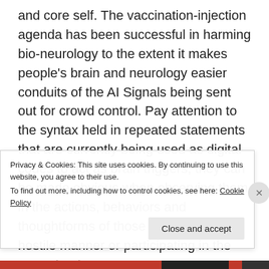and core self. The vaccination-injection agenda has been successful in harming bio-neurology to the extent it makes people's brain and neurology easier conduits of the AI Signals being sent out for crowd control. Pay attention to the syntax held in repeated statements that are currently being used as digital codes to act as brain triggers, they can be made obvious when observing them in the actions, behaviors and thoughtforms of those behaving in a hostile manner or participating in the current outer
Privacy & Cookies: This site uses cookies. By continuing to use this website, you agree to their use.
To find out more, including how to control cookies, see here: Cookie Policy